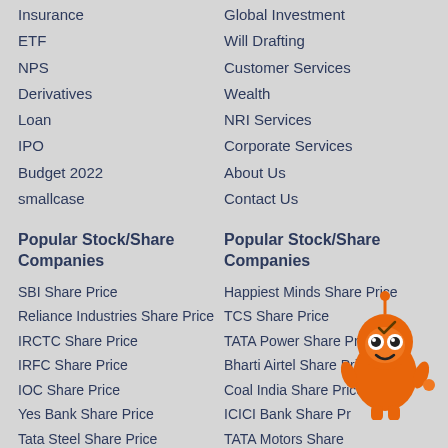Insurance
ETF
NPS
Derivatives
Loan
IPO
Budget 2022
smallcase
Global Investment
Will Drafting
Customer Services
Wealth
NRI Services
Corporate Services
About Us
Contact Us
Popular Stock/Share Companies
SBI Share Price
Reliance Industries Share Price
IRCTC Share Price
IRFC Share Price
IOC Share Price
Yes Bank Share Price
Tata Steel Share Price
Company Directory
Popular Stock/Share Companies
Happiest Minds Share Price
TCS Share Price
TATA Power Share Price
Bharti Airtel Share Price
Coal India Share Price
ICICI Bank Share Price
TATA Motors Share
iLearn
Calculators